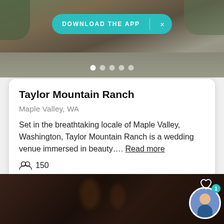[Figure (photo): Outdoor photo of a wooded venue setting with a teal 'Download the App' pill button overlay and slide dots indicator]
Taylor Mountain Ranch
Maple Valley, WA
Set in the breathtaking locale of Maple Valley, Washington, Taylor Mountain Ranch is a wedding venue immersed in beauty.... Read more
150
Request pricing
[Figure (photo): Dark indoor wedding reception photo with people dancing or celebrating]